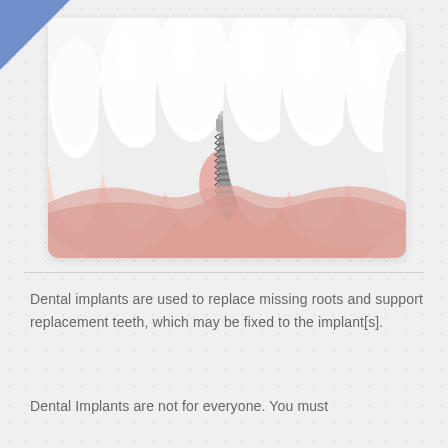[Figure (illustration): Medical illustration of a dental implant screw positioned between teeth in the gum, showing the titanium screw post inserted into the jaw bone with surrounding natural teeth and pink gum tissue]
Dental implants are used to replace missing roots and support replacement teeth, which may be fixed to the implant[s].
Dental Implants are not for everyone. You must